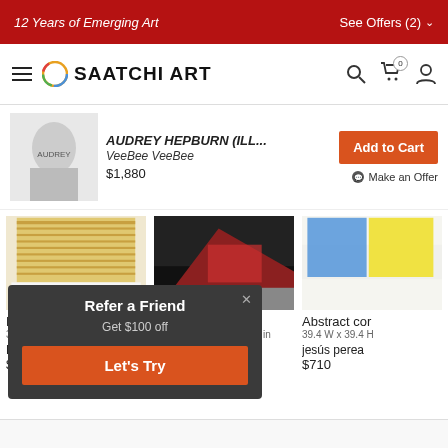12 Years of Emerging Art | See Offers (2)
[Figure (logo): Saatchi Art logo with hamburger menu, circle logo, search, cart, and user icons]
[Figure (photo): Thumbnail of AUDREY HEPBURN artwork by VeeBee VeeBee]
AUDREY HEPBURN (ILL... VeeBee VeeBee $1,880
Add to Cart
Make an Offer
[Figure (photo): Let It Go - hand color... artwork thumbnail, abstract warm tones]
Let It Go - hand color...
33.1 W x 23.6 H x 0.4 D in
Lykke Steenbach Jose...
$490
[Figure (photo): Vandel artwork thumbnail, dark with red diagonal]
Vandel
39.4 W x 27.6 H x 0.8 D in
Dee Brown
$430
[Figure (photo): Abstract cor... artwork thumbnail, colorful blue and yellow]
Abstract cor
39.4 W x 39.4 H
jesús perea
$710
Refer a Friend
Get $100 off
Let's Try